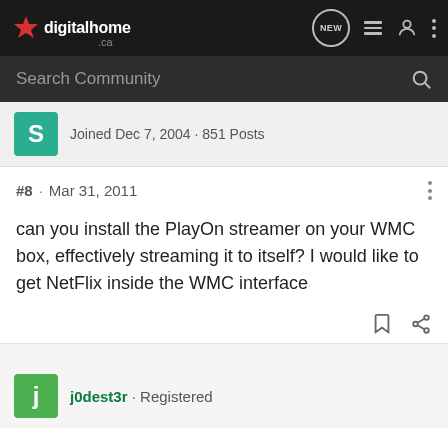digitalhome.ca — navigation bar with NEW, list, user, and menu icons
Search Community
Joined Dec 7, 2004 · 851 Posts
#8 · Mar 31, 2011
can you install the PlayOn streamer on your WMC box, effectively streaming it to itself? I would like to get NetFlix inside the WMC interface
j0dest3r · Registered